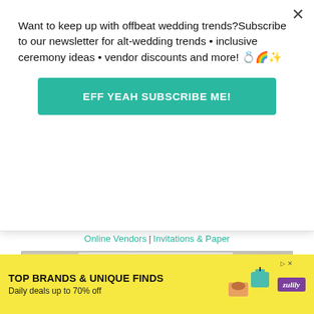Want to keep up with offbeat wedding trends?Subscribe to our newsletter for alt-wedding trends • inclusive ceremony ideas • vendor discounts and more! 💍🌈✨
EFF YEAH SUBSCRIBE ME!
DIVINE WEDDING STATIONER...
Online Vendors | Invitations & Paper
[Figure (photo): Person holding a rustic wooden sign with mountain silhouette design and cursive text reading 'Jason & Hannah October 19th, 2019']
[Figure (infographic): Advertisement banner: TOP BRANDS & UNIQUE FINDS - Daily deals up to 70% off - Zulily ad with product images]